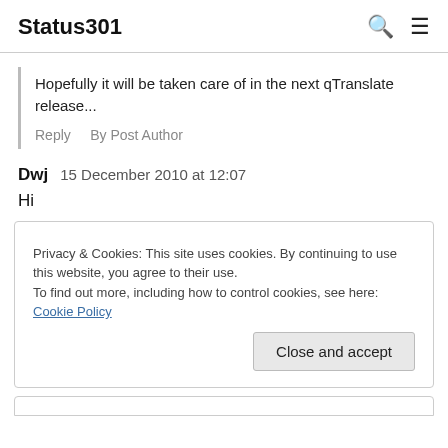Status301
Hopefully it will be taken care of in the next qTranslate release...
Reply   By Post Author
Dwj   15 December 2010 at 12:07
Hi
Privacy & Cookies: This site uses cookies. By continuing to use this website, you agree to their use.
To find out more, including how to control cookies, see here: Cookie Policy
Close and accept